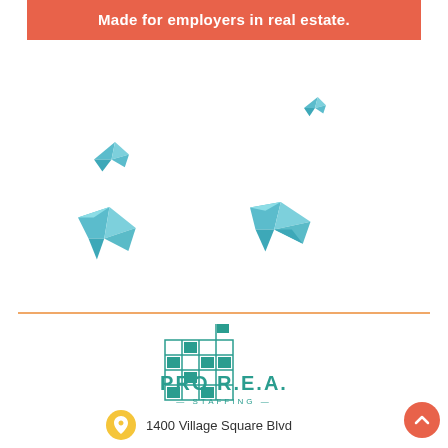Made for employers in real estate.
[Figure (illustration): Four origami paper birds in teal/blue colors scattered across a white background area]
[Figure (logo): Pro R.E.A. Staffing logo — teal building grid with a flag, text PRO R.E.A. STAFFING with decorative dashes]
1400 Village Square Blvd